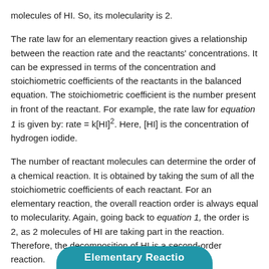molecules of HI. So, its molecularity is 2.
The rate law for an elementary reaction gives a relationship between the reaction rate and the reactants' concentrations. It can be expressed in terms of the concentration and stoichiometric coefficients of the reactants in the balanced equation. The stoichiometric coefficient is the number present in front of the reactant. For example, the rate law for equation 1 is given by: rate = k[HI]². Here, [HI] is the concentration of hydrogen iodide.
The number of reactant molecules can determine the order of a chemical reaction. It is obtained by taking the sum of all the stoichiometric coefficients of each reactant. For an elementary reaction, the overall reaction order is always equal to molecularity. Again, going back to equation 1, the order is 2, as 2 molecules of HI are taking part in the reaction. Therefore, the decomposition of HI is a second-order reaction.
Elementary Reactio...